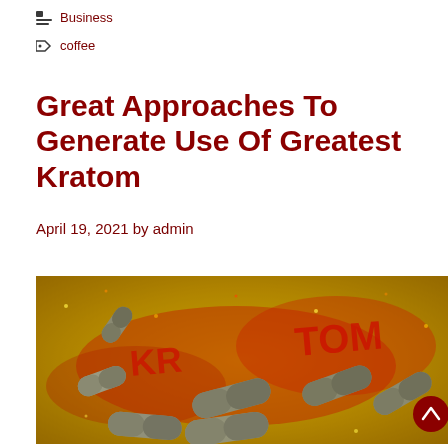Business
coffee
Great Approaches To Generate Use Of Greatest Kratom
April 19, 2021 by admin
[Figure (photo): Multiple gray/brown kratom capsules scattered on a shiny gold/orange background with the word KRATOM written in red letters]